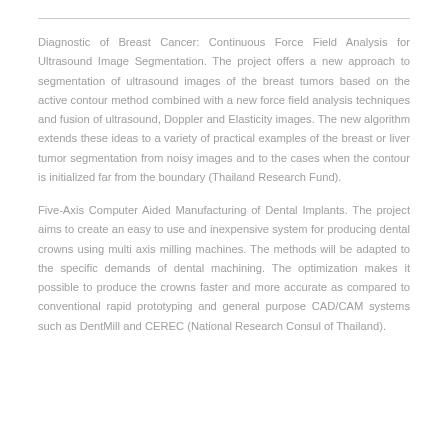Diagnostic of Breast Cancer: Continuous Force Field Analysis for Ultrasound Image Segmentation. The project offers a new approach to segmentation of ultrasound images of the breast tumors based on the active contour method combined with a new force field analysis techniques and fusion of ultrasound, Doppler and Elasticity images. The new algorithm extends these ideas to a variety of practical examples of the breast or liver tumor segmentation from noisy images and to the cases when the contour is initialized far from the boundary (Thailand Research Fund).
Five-Axis Computer Aided Manufacturing of Dental Implants. The project aims to create an easy to use and inexpensive system for producing dental crowns using multi axis milling machines. The methods will be adapted to the specific demands of dental machining. The optimization makes it possible to produce the crowns faster and more accurate as compared to conventional rapid prototyping and general purpose CAD/CAM systems such as DentMill and CEREC (National Research Consul of Thailand).